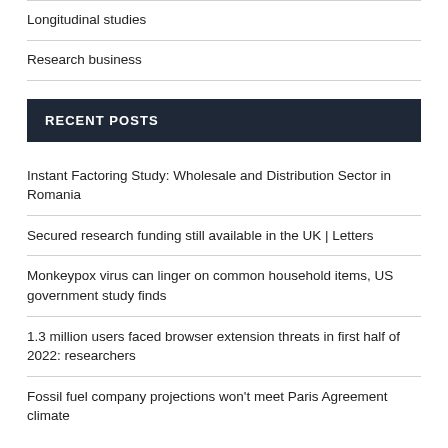Longitudinal studies
Research business
RECENT POSTS
Instant Factoring Study: Wholesale and Distribution Sector in Romania
Secured research funding still available in the UK | Letters
Monkeypox virus can linger on common household items, US government study finds
1.3 million users faced browser extension threats in first half of 2022: researchers
Fossil fuel company projections won't meet Paris Agreement climate